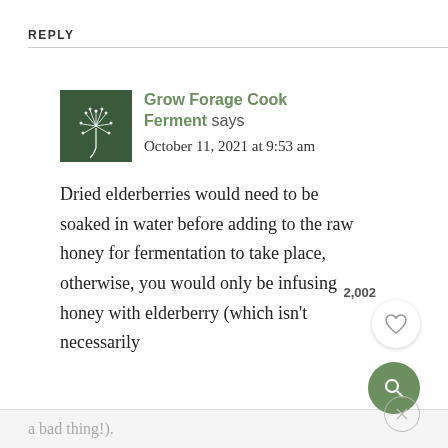REPLY
Grow Forage Cook Ferment says
October 11, 2021 at 9:53 am
Dried elderberries would need to be soaked in water before adding to the raw honey for fermentation to take place, otherwise, you would only be infusing honey with elderberry (which isn't necessarily a bad thing!).